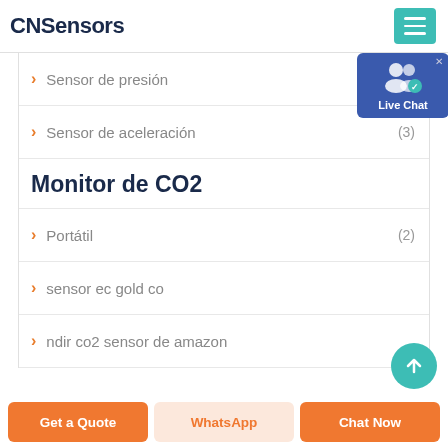CNSensors
> Sensor de presión
> Sensor de aceleración (3)
Monitor de CO2
> Portátil (2)
> sensor ec gold co
> ndir co2 sensor de amazon
[Figure (screenshot): Live Chat popup widget with blue background and user icon]
Get a Quote | WhatsApp | Chat Now